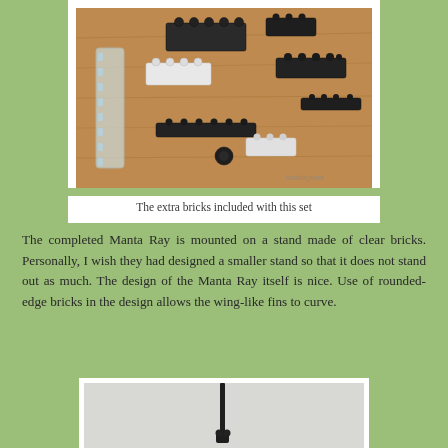[Figure (photo): Photo of extra LEGO bricks included with the Manta Ray set — black and white bricks scattered on a wooden surface, with a clear transparent piece on the left side. Photo has a white border like a printed photograph.]
The extra bricks included with this set
The completed Manta Ray is mounted on a stand made of clear bricks. Personally, I wish they had designed a smaller stand so that it does not stand out as much. The design of the Manta Ray itself is nice. Use of rounded-edge bricks in the design allows the wing-like fins to curve.
[Figure (photo): Photo of the bottom portion of the Manta Ray model mounted on a clear stand, shown against a light gray background.]